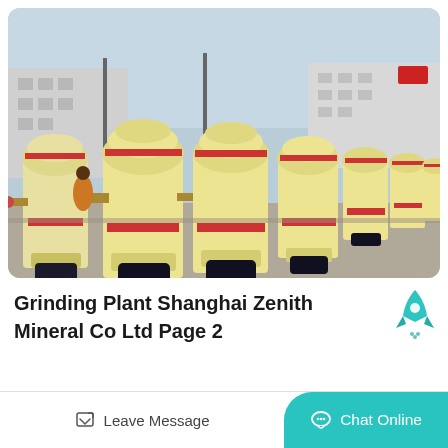[Figure (photo): Rows of large cream/beige industrial grinding mill machines (Raymond mills) lined up in an outdoor factory yard, with industrial buildings in the background. Machines have red accent rings and blue/black bases.]
Grinding Plant Shanghai Zenith Mineral Co Ltd Page 2
Leave Message   Chat Online